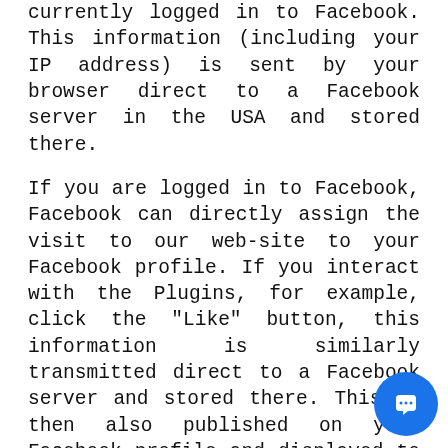currently logged in to Facebook. This information (including your IP address) is sent by your browser direct to a Facebook server in the USA and stored there.
If you are logged in to Facebook, Facebook can directly assign the visit to our web-site to your Facebook profile. If you interact with the Plugins, for example, click the "Like" button, this information is similarly transmitted direct to a Facebook server and stored there. This is then also published on your Facebook profile and displayed to your Facebook friends.
For purpose and scope of data recording and further processing and use of rel="noopener noreferrer" the data by Facebook and y rel="noopener noreferrer" rights and possib rel="noopener noreferrer" for settings to protect